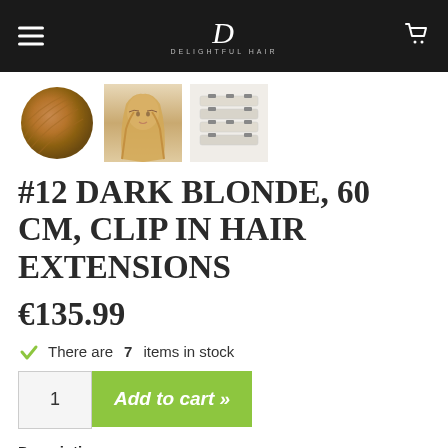Delightful Hair - navigation header with logo
[Figure (photo): Three product thumbnails: a round hair swatch in dark blonde/caramel color, a woman with blonde wavy hair extensions, and a set of clip-in hair extension pieces in platinum/white blonde]
#12 DARK BLONDE, 60 CM, CLIP IN HAIR EXTENSIONS
€135.99
There are 7 items in stock
1  Add to cart »
Description: Clip-in hair extensions, also called Clip-on hair extensions or clip-in extensions. The clip-in is replaced with the last 5 clips that you can see on the left side...